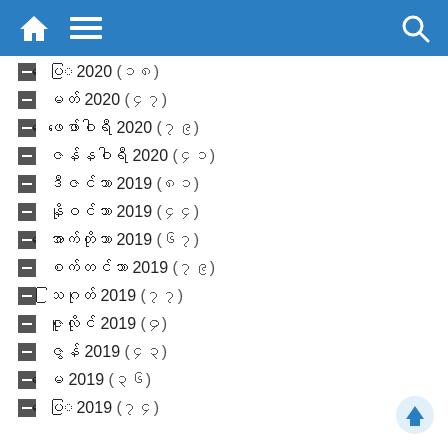Navigation bar with home, menu, and search icons
ပေြ 2020 (၁၈)
မတ် 2020 (၄၇)
ဖေဖော်ဝါရီ 2020 (၇၉)
ဇန်နဝါရီ 2020 (၄၁)
ဒီဇင်ဘာ 2019 (၈၁)
နိုဝင်ဘာ 2019 (၄၄)
အောက်တိုဘာ 2019 (၆၇)
စက်တင်ဘာ 2019 (၇၉)
သြဂုတ် 2019 (၇၇)
ဇူလိုင် 2019 (၄ာ)
ဇွန် 2019 (၄၃)
မေ 2019 (၃၆)
ပေြ 2019 (၇၄)